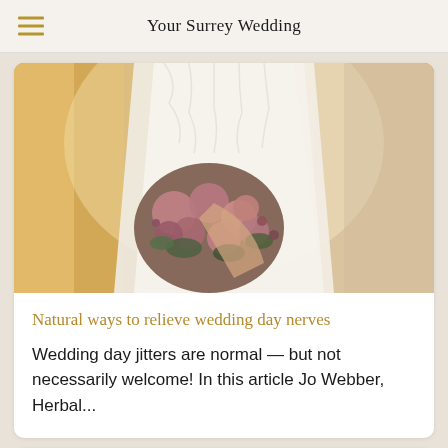Your Surrey Wedding
[Figure (photo): A bride in a white lace wedding dress holding a large bouquet of pink and mauve flowers, photographed from mid-torso, with soft warm window light in the background.]
Natural ways to relieve wedding day nerves
Wedding day jitters are normal — but not necessarily welcome! In this article Jo Webber, Herbal...